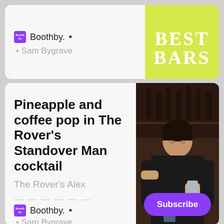Boothby. •
• Sam Bygrave
[Figure (photo): Yellow/lime green background with 'BEST BARS' text in white bold serif font]
Pineapple and coffee pop in The Rover's Standover Man cocktail
The Rover's Alex
Boothby. •
• Sam Bygrave
[Figure (photo): Bartender in black shirt pouring from a cocktail shaker into a glass at a bar with bottles in the background]
Subscribe